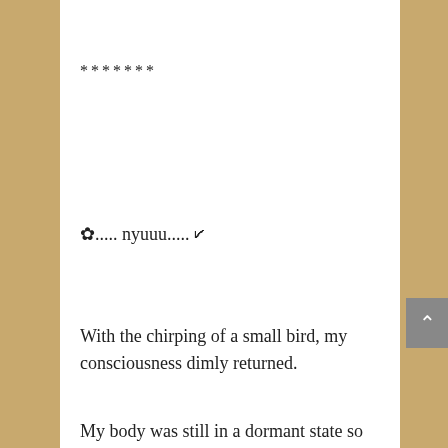*******
✿..... nyuuu.....🗸
With the chirping of a small bird, my consciousness dimly returned.
My body was still in a dormant state so I couldn't